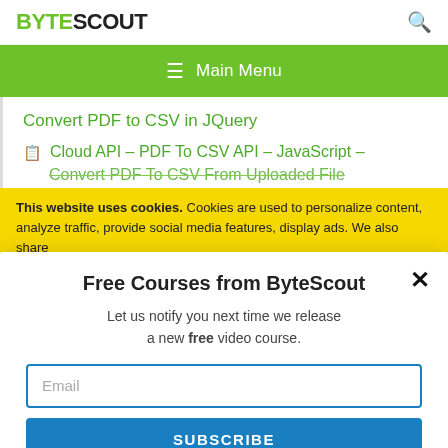[Figure (logo): ByteScout logo with BYTE in green and SCOUT in black, with a search icon on the right]
Main Menu
Convert PDF to CSV in JQuery
Cloud API – PDF To CSV API – JavaScript – Convert PDF To CSV From Uploaded File
This website uses cookies. Cookies are used to personalize content, analyze traffic, provide social media features, display ads. We also share
Free Courses from ByteScout
Let us notify you next time we release a new free video course.
Email
SUBSCRIBE